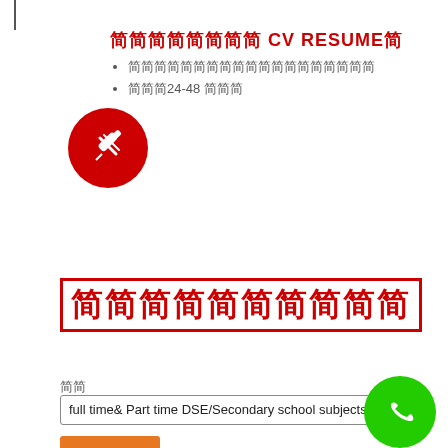简单直接 CV RESUME简
简简简简简简简简简简简简简简简简简简简
简简简24-48 简简简
简简简简简简简简简简
简简
full time& Part time DSE/Secondary school subjects 简 简che